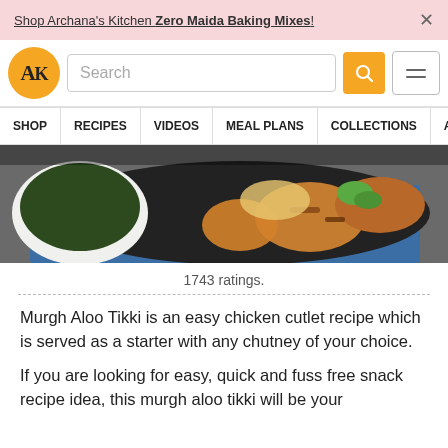Shop Archana's Kitchen Zero Maida Baking Mixes!
[Figure (logo): Archana's Kitchen logo — orange circle with 'AK' text]
[Figure (photo): Food photo showing chicken tikki patties in a black pan with green chutney in a white bowl on a blue cloth background]
1743 ratings.
Murgh Aloo Tikki is an easy chicken cutlet recipe which is served as a starter with any chutney of your choice.
If you are looking for easy, quick and fuss free snack recipe idea, this murgh aloo tikki will be your...